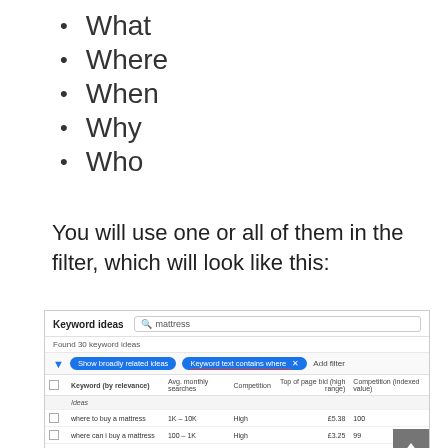What
Where
When
Why
Who
You will use one or all of them in the filter, which will look like this:
[Figure (screenshot): Google Keyword Planner screenshot showing 'Keyword ideas' search for 'mattress' with filters 'Show broadly related ideas' and 'Keyword text contains where', displaying a table with columns Keyword (by relevance), Avg. monthly searches, Competition, Top of page bid (high range), Competition (indexed value). Rows shown: Ideas header row, 'where to buy a mattress' (1K-10K, High, £5.38, 100), 'where can i buy a mattress' (100-1K, High, £3.25, 99), 'where to buy memory foam mattress' (100-1K, High, £6.16, 100).]